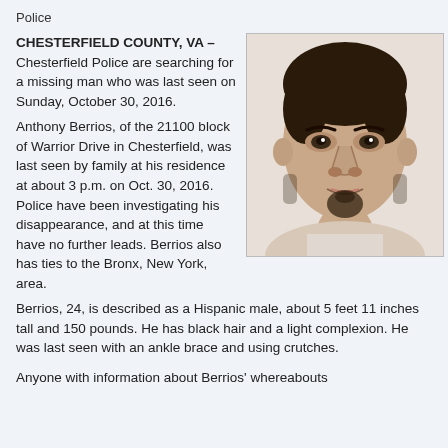Police
CHESTERFIELD COUNTY, VA – Chesterfield Police are searching for a missing man who was last seen on Sunday, October 30, 2016.
[Figure (photo): Headshot photo of Anthony Berrios, a young Hispanic male with dark curly hair and a goatee.]
Anthony Berrios, of the 21100 block of Warrior Drive in Chesterfield, was last seen by family at his residence at about 3 p.m. on Oct. 30, 2016. Police have been investigating his disappearance, and at this time have no further leads. Berrios also has ties to the Bronx, New York, area.
Berrios, 24, is described as a Hispanic male, about 5 feet 11 inches tall and 150 pounds. He has black hair and a light complexion.  He was last seen with an ankle brace and using crutches.
Anyone with information about Berrios' whereabouts